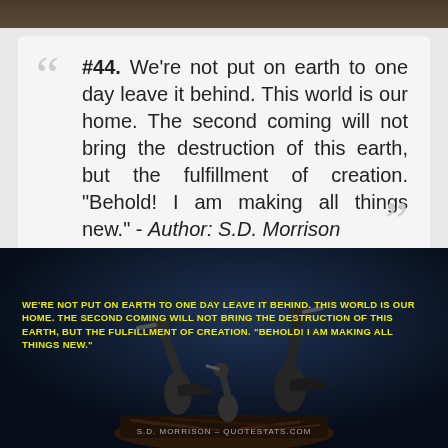[Figure (photo): Dark photo strip at top of page showing birds or nature scene]
#44. We're not put on earth to one day leave it behind. This world is our home. The second coming will not bring the destruction of this earth, but the fulfillment of creation. "Behold! I am making all things new." - Author: S.D. Morrison
[Figure (photo): Dark night-sky photo of storks or herons in a nest on dark blue background with yellow bold text overlay of the quote and attribution to S.D. Morrison – quotestats.com]